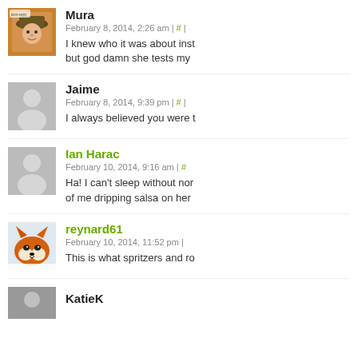Mura
February 8, 2014, 2:26 am | # |
I knew who it was about ins... but god damn she tests my
Jaime
February 8, 2014, 9:39 pm | # |
I always believed you were t
Ian Harac
February 10, 2014, 9:16 am | # |
Ha! I can't sleep without nor... of me dripping salsa on her
reynard61
February 10, 2014, 11:52 pm |
This is what spritzers and ro
KatieK